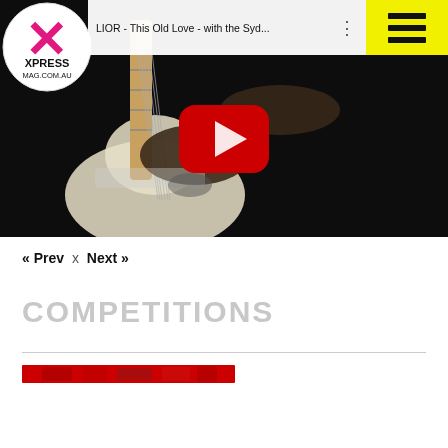[Figure (screenshot): YouTube video thumbnail showing a person playing an electric guitar on a dark stage, with YouTube play button overlay. Video title: 'LIOR - This Old Love - with the Syd...' Logo overlay in top-left showing X with 'XPRESS MAG.COM.AU' text in pink/magenta.]
« Prev x Next »
COMPETITIONS
[Figure (other): Red/dark red horizontal bar graphic near bottom of page]